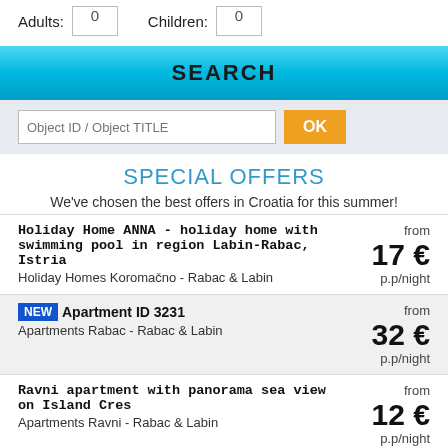Adults: 0    Children: 0
SEARCH
Object ID / Object TITLE  OK
SPECIAL OFFERS
We've chosen the best offers in Croatia for this summer!
Holiday Home ANNA - holiday home with swimming pool in region Labin-Rabac, Istria
Holiday Homes Koromačno - Rabac & Labin
from 17 € p.p/night
Apartment ID 3231
Apartments Rabac - Rabac & Labin
from 32 € p.p/night
Ravni apartment with panorama sea view on Island Cres
Apartments Ravni - Rabac & Labin
from 12 € p.p/night